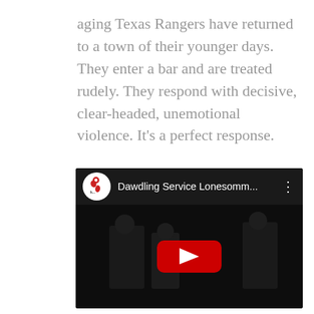aging Texas Rangers have returned to a town of their younger days. They enter a bar and are treated rudely. They respond with decisive, clear-headed, unemotional violence. It's a perfect response.

We think you'll agree. Enjoy:
[Figure (screenshot): Embedded YouTube video player showing a dark scene with figures. Video title reads 'Dawdling Service Lonesomm...' with a channel logo showing a stylized red figure icon on white background. A red play button is centered on the dark video thumbnail.]